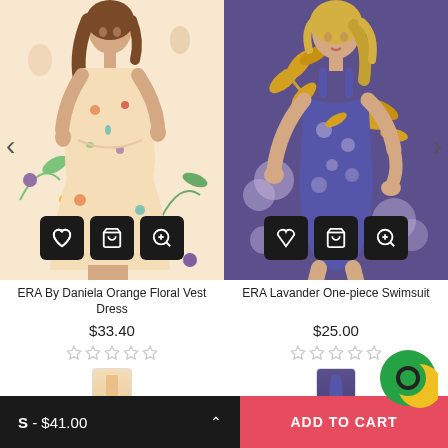[Figure (photo): Woman wearing ERA By Daniela Orange Floral Vest Dress, a sleeveless floral dress on peach/cream background with colorful flower print]
[Figure (photo): Woman wearing ERA Lavender One-piece Swimsuit, a purple/lavender swimsuit with gold leaf and floral print]
ERA By Daniela Orange Floral Vest Dress
$33.40
ERA Lavander One-piece Swimsuit
$25.00
S - $41.00
ADD TO CART